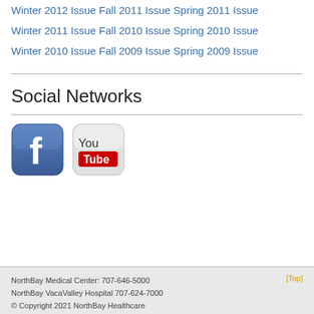Winter 2012 Issue
Fall 2011 Issue
Spring 2011 Issue
Winter 2011 Issue
Fall 2010 Issue
Spring 2010 Issue
Winter 2010 Issue
Fall 2009 Issue
Spring 2009 Issue
Social Networks
[Figure (logo): Facebook logo icon with blue rounded square background and white 'f' lettermark]
[Figure (logo): YouTube logo icon with grey rounded square background and YouTube wordmark with red rectangle]
NorthBay Medical Center: 707-646-5000
NorthBay VacaValley Hospital 707-624-7000
© Copyright 2021 NorthBay Healthcare